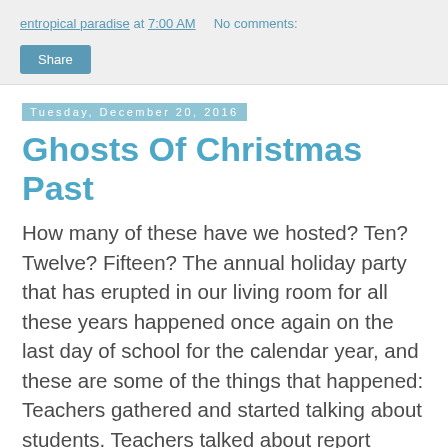entropical paradise at 7:00 AM    No comments:
Share
Tuesday, December 20, 2016
Ghosts Of Christmas Past
How many of these have we hosted? Ten? Twelve? Fifteen? The annual holiday party that has erupted in our living room for all these years happened once again on the last day of school for the calendar year, and these are some of the things that happened: Teachers gathered and started talking about students. Teachers talked about report cards that didn't get handed out because parents missed their assigned conference times. Teachers talked about how glad they were to have a couple of weeks to drift away from the day-to-day crush of expectations and joys and miseries of elementary education. Cocktails were served. There were children present. And dogs. Decorum was maintained, for the most part. Right up until the White Elephant Gift Exchange. There